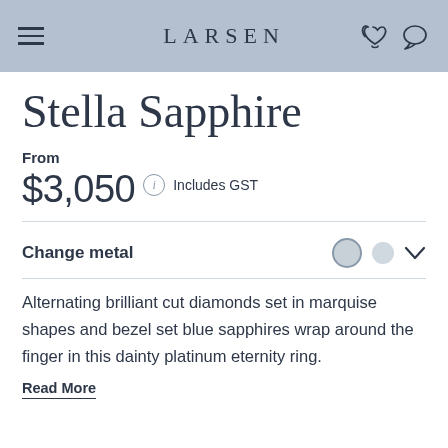LARSEN
Stella Sapphire
From
$3,050 Includes GST
Change metal
Alternating brilliant cut diamonds set in marquise shapes and bezel set blue sapphires wrap around the finger in this dainty platinum eternity ring.
Read More